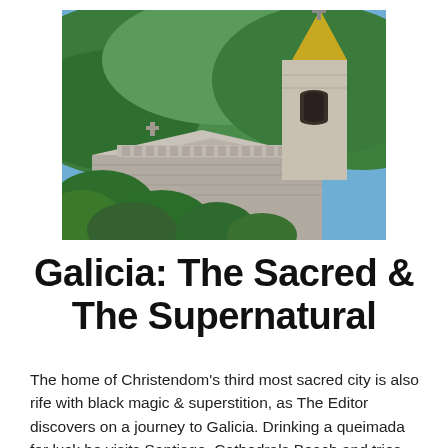[Figure (photo): Photograph of a stone church or cathedral with a Gothic spire topped with a cross, surrounded by lush green forested hills in the background. Stone rooftops and green trees are visible in the foreground.]
Galicia: The Sacred & The Supernatural
The home of Christendom's third most sacred city is also rife with black magic & superstition, as The Editor discovers on a journey to Galicia. Drinking a queimada for luck he visits Santiago, Cathedrals Beach and tries the local cuisine... A bit like the